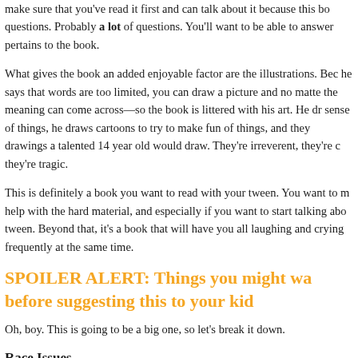make sure that you've read it first and can talk about it because this book questions. Probably a lot of questions. You'll want to be able to answer pertains to the book.
What gives the book an added enjoyable factor are the illustrations. Because he says that words are too limited, you can draw a picture and no matter the meaning can come across—so the book is littered with his art. He draws sense of things, he draws cartoons to try to make fun of things, and they drawings a talented 14 year old would draw. They're irreverent, they're they're tragic.
This is definitely a book you want to read with your tween. You want to help with the hard material, and especially if you want to start talking about tween. Beyond that, it's a book that will have you all laughing and crying frequently at the same time.
SPOILER ALERT: Things you might want before suggesting this to your kid
Oh, boy. This is going to be a big one, so let's break it down.
Race Issues